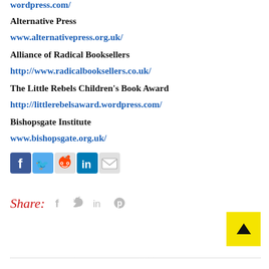wordpress.com/
Alternative Press
www.alternativepress.org.uk/
Alliance of Radical Booksellers
http://www.radicalbooksellers.co.uk/
The Little Rebels Children's Book Award
http://littlerebelsaward.wordpress.com/
Bishopsgate Institute
www.bishopsgate.org.uk/
[Figure (other): Social media share icons: Facebook, Twitter, Reddit, LinkedIn, Email]
Share:
[Figure (other): Share icons: Facebook, Twitter, LinkedIn, Pinterest (gray)]
[Figure (other): Back to top yellow button with upward arrow]